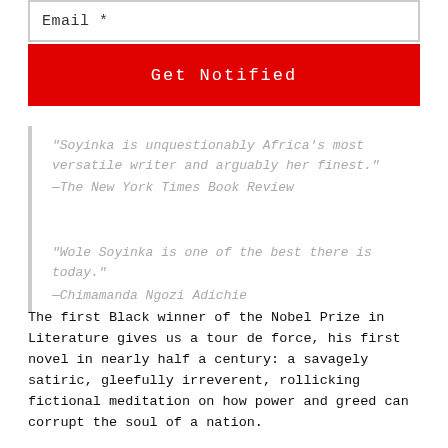Email *
Get Notified
“Soyinka is unquestionably Africa’s most versatile writer and arguably her finest.”
—The New York Times Book Review
“Wole Soyinka is one of the best there is today.”
—Chimamanda Ngozi Adichie
The first Black winner of the Nobel Prize in Literature gives us a tour de force, his first novel in nearly half a century: a savagely satiric, gleefully irreverent, rollicking fictional meditation on how power and greed can corrupt the soul of a nation.